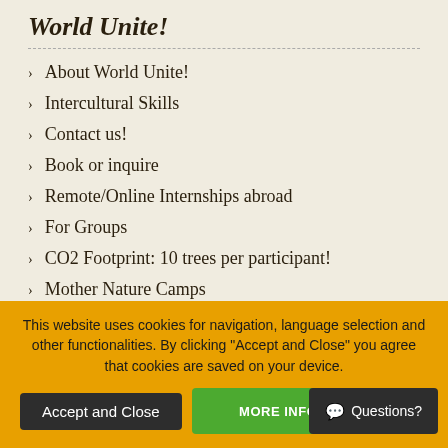World Unite!
About World Unite!
Intercultural Skills
Contact us!
Book or inquire
Remote/Online Internships abroad
For Groups
CO2 Footprint: 10 trees per participant!
Mother Nature Camps
Destinations
Tanzania
This website uses cookies for navigation, language selection and other functionalities. By clicking "Accept and Close" you agree that cookies are saved on your device.